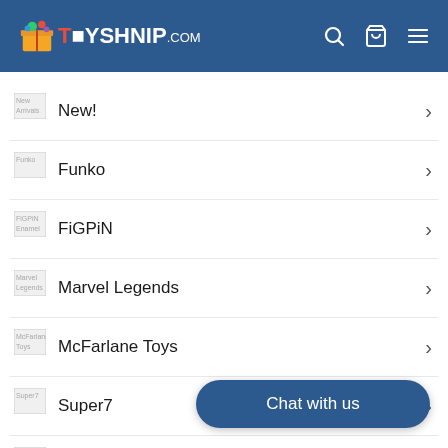TOYSHNIP.com
New!
Funko
FiGPiN
Marvel Legends
McFarlane Toys
Super7
Sonic the Hedgehog
Star Wars
Masters of the Universe